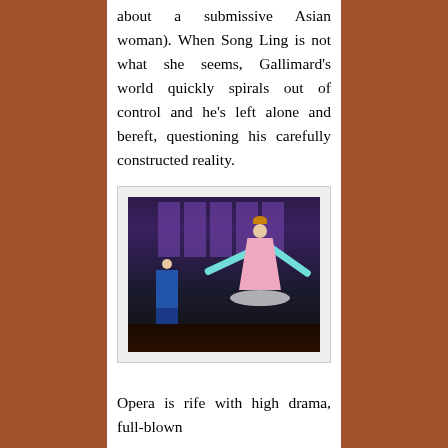about a submissive Asian woman). When Song Ling is not what she seems, Gallimard's world quickly spirals out of control and he's left alone and bereft, questioning his carefully constructed reality.
[Figure (photo): Theater stage photo showing two performers: one in a blue suit on the left and one in a pink Chinese opera costume with long teal ribbons/sleeves on the right, against a dark purple backdrop with window panels.]
Opera is rife with high drama, full-blown